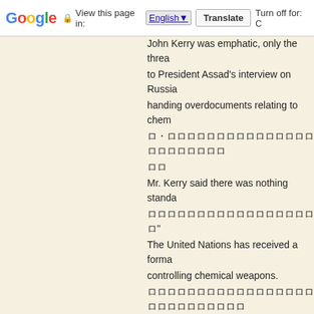Google | View this page in: English | Translate | Turn off for: C
John Kerry was emphatic, only the threa...
to President Assad's interview on Russia...
handing overdocuments relating to chem...
[Japanese text]
[Japanese text]
Mr. Kerry said there was nothing standa...
[Japanese text]”
The United Nations has received a forma...
controlling chemical weapons.
[Japanese text]
From New York, here's Nick Bryant.
[Japanese text] Nick Bryant [Japanese text]
“Codified in the early 90’s and agreed to...
weapons.
[Japanese text]
Under its terms, Syria has 60 days topro...
facilities.
[Japanese text]
The Assad regime would have to detail t...
the acquisition for the prohibition of ch...